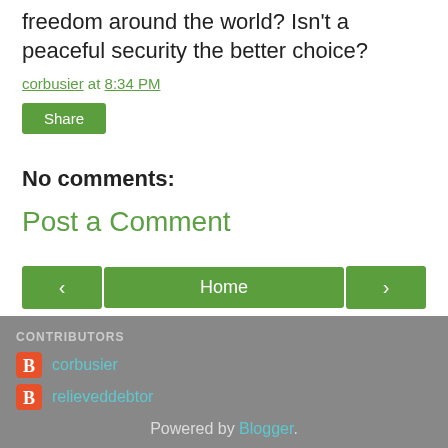freedom around the world? Isn't a peaceful security the better choice?
corbusier at 8:34 PM
Share
No comments:
Post a Comment
‹
Home
›
View web version
CONTRIBUTORS corbusier relieveddebtor Powered by Blogger.